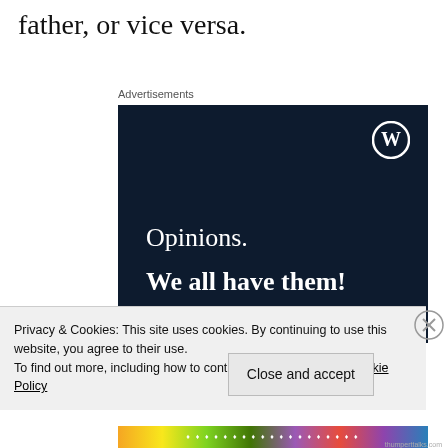father, or vice versa.
Advertisements
[Figure (other): WordPress.com advertisement banner with dark navy background, WordPress logo (W in circle) top right, text 'Opinions.' and bold 'We all have them!' in white, with a colorful decorative bar at the bottom.]
Privacy & Cookies: This site uses cookies. By continuing to use this website, you agree to their use.
To find out more, including how to control cookies, see here: Cookie Policy
Close and accept